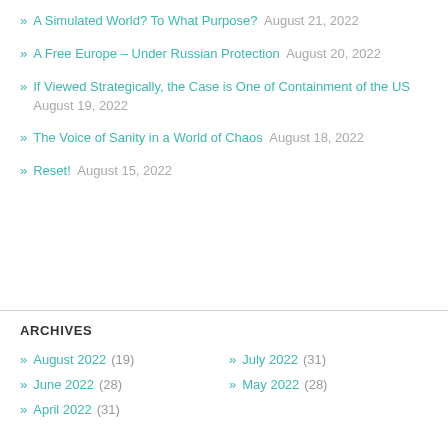» A Simulated World? To What Purpose?  August 21, 2022
» A Free Europe – Under Russian Protection  August 20, 2022
» If Viewed Strategically, the Case is One of Containment of the US  August 19, 2022
» The Voice of Sanity in a World of Chaos  August 18, 2022
» Reset!  August 15, 2022
ARCHIVES
» August 2022 (19)
» July 2022 (31)
» June 2022 (28)
» May 2022 (28)
» April 2022 (31)